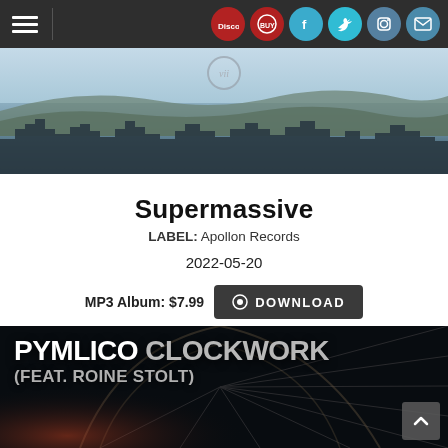Navigation bar with hamburger menu and social icons: Discogs, Facebook, Twitter, Instagram, Mail
[Figure (photo): Panoramic cityscape photo with hills in background, used as hero/banner image]
Supermassive
LABEL: Apollon Records
2022-05-20
MP3 Album: $7.99  DOWNLOAD
[Figure (photo): Album art for Pymlico Clockwork (feat. Roine Stolt) — dark industrial/tunnel image with large white and grey text overlay]